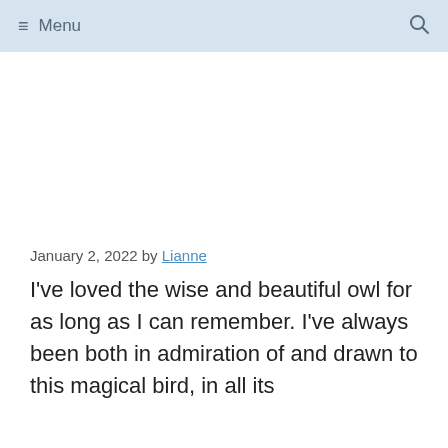≡ Menu  🔍
January 2, 2022 by Lianne
I've loved the wise and beautiful owl for as long as I can remember. I've always been both in admiration of and drawn to this magical bird, in all its